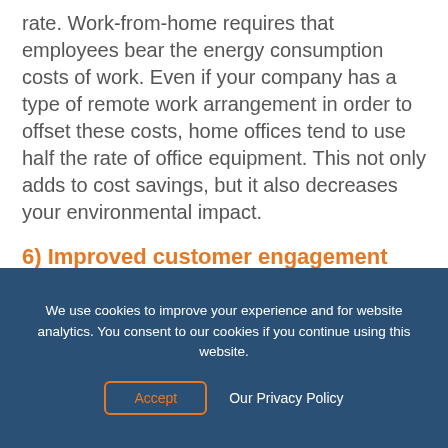rate. Work-from-home requires that employees bear the energy consumption costs of work. Even if your company has a type of remote work arrangement in order to offset these costs, home offices tend to use half the rate of office equipment. This not only adds to cost savings, but it also decreases your environmental impact.
6) Improved customer engagement
The financial, mental, and environmental improvements that can stem from remote work is well worth the transition to a distributed team. Here are it is well…
We use cookies to improve your experience and for website analytics. You consent to our cookies if you continue using this website.
Accept   Our Privacy Policy